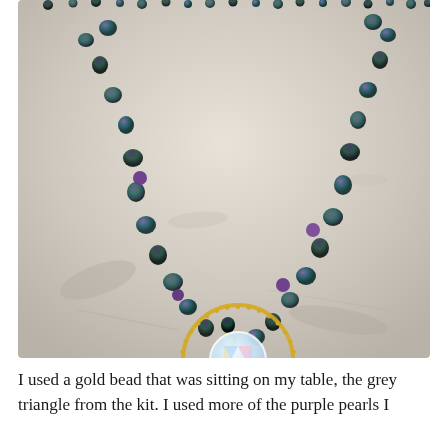[Figure (photo): A beaded necklace displayed on a light grey stone/marble surface. The necklace has dark iridescent beads (teal, purple, black) forming the chain, with a gold bead accent near the pendant area. The pendant consists of a large gold circular hoop with a holographic/iridescent circular disc charm inside it featuring a geometric triangle pattern in pastel colors.]
I used a gold bead that was sitting on my table, the grey triangle from the kit. I used more of the purple pearls I